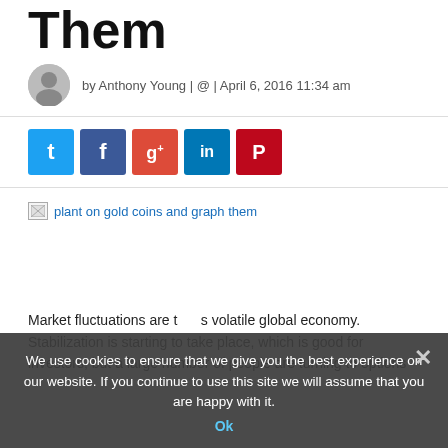Them
by Anthony Young | @ | April 6, 2016 11:34 am
[Figure (infographic): Social sharing buttons: Twitter (blue), Facebook (dark blue), Google+ (red), LinkedIn (blue), Pinterest (red)]
[Figure (photo): Broken image: plant on gold coins and graph them]
Market fluctuations are the today's volatile global economy. Stabilization is starting to take place, which is good for investors, but a large number of people are turning to options
We use cookies to ensure that we give you the best experience on our website. If you continue to use this site we will assume that you are happy with it.
Ok